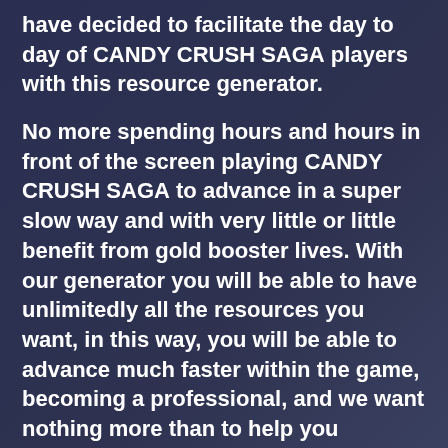have decided to facilitate the day to day of CANDY CRUSH SAGA players with this resource generator.
No more spending hours and hours in front of the screen playing CANDY CRUSH SAGA to advance in a super slow way and with very little or little benefit from gold booster lives. With our generator you will be able to have unlimitedly all the resources you want, in this way, you will be able to advance much faster within the game, becoming a professional, and we want nothing more than to help you throughout this process!
No previous surveys, no registrations, no need to download strange applications, and above all without paying! That is how easy...